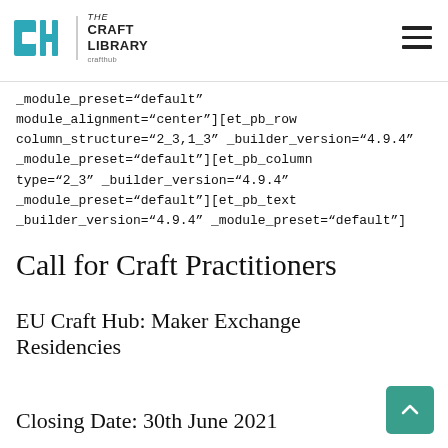[Figure (logo): CraftHub The Craft Library logo with CH icon and text]
_module_preset="default" module_alignment="center"][et_pb_row column_structure="2_3,1_3" _builder_version="4.9.4" _module_preset="default"][et_pb_column type="2_3" _builder_version="4.9.4" _module_preset="default"][et_pb_text _builder_version="4.9.4" _module_preset="default"]
Call for Craft Practitioners
EU Craft Hub: Maker Exchange Residencies
Closing Date: 30th June 2021